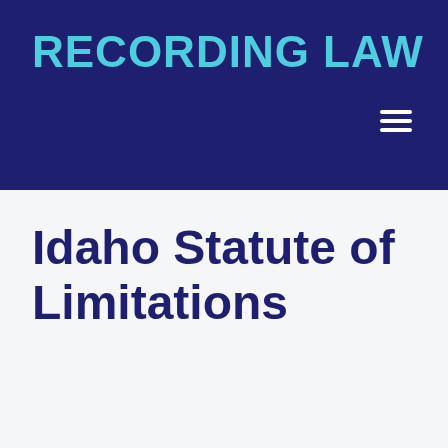RECORDING LAW
Idaho Statute of Limitations